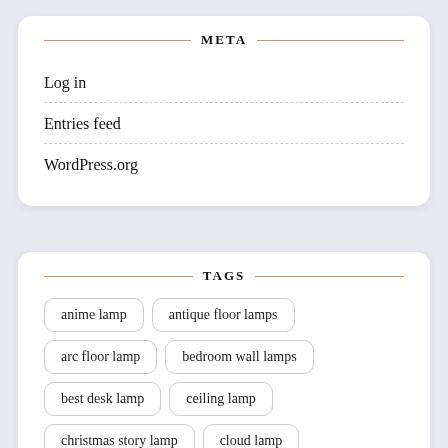META
Log in
Entries feed
WordPress.org
TAGS
anime lamp
antique floor lamps
arc floor lamp
bedroom wall lamps
best desk lamp
ceiling lamp
christmas story lamp
cloud lamp